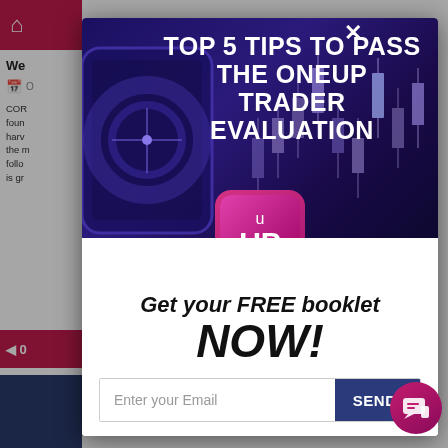[Figure (screenshot): Background webpage partially visible on left side showing a home icon, calendar, and partial body text about CORE/found/harv/the m/follo/is gra]
TOP 5 TIPS TO PASS THE ONEUP TRADER EVALUATION
[Figure (logo): OneUp Trader UP logo — pink/magenta square with rounded corners showing 'UP' in white bold text with a small 'u' above]
Get your FREE booklet NOW!
Enter your Email
SEND!